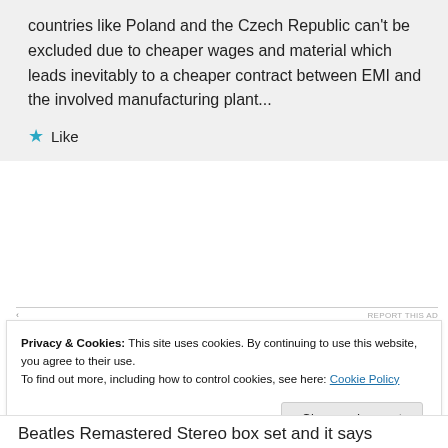countries like Poland and the Czech Republic can't be excluded due to cheaper wages and material which leads inevitably to a cheaper contract between EMI and the involved manufacturing plant...
★ Like
REPORT THIS AD
Privacy & Cookies: This site uses cookies. By continuing to use this website, you agree to their use.
To find out more, including how to control cookies, see here: Cookie Policy
Close and accept
Beatles Remastered Stereo box set and it says